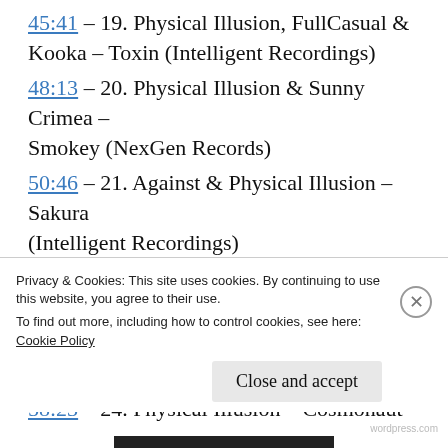45:41 – 19. Physical Illusion, FullCasual & Kooka – Toxin (Intelligent Recordings)
48:13 – 20. Physical Illusion & Sunny Crimea – Smokey (NexGen Records)
50:46 – 21. Against & Physical Illusion – Sakura (Intelligent Recordings)
53:18 – 22. Flame & Physical Illusion – Satellites (Fokuz Limited Recordings)
55:50 – 23. Stereotype & Physical Illusion – Sapphire (Modulate Recordings)
58:23 – 24. Physical Illusion – Cosmonaut
Privacy & Cookies: This site uses cookies. By continuing to use this website, you agree to their use. To find out more, including how to control cookies, see here: Cookie Policy